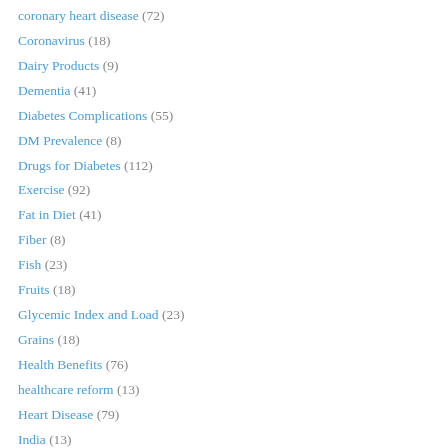coronary heart disease (72)
Coronavirus (18)
Dairy Products (9)
Dementia (41)
Diabetes Complications (55)
DM Prevalence (8)
Drugs for Diabetes (112)
Exercise (92)
Fat in Diet (41)
Fiber (8)
Fish (23)
Fruits (18)
Glycemic Index and Load (23)
Grains (18)
Health Benefits (76)
healthcare reform (13)
Heart Disease (79)
India (13)
Inspiration (4)
ketogenic diet (62)